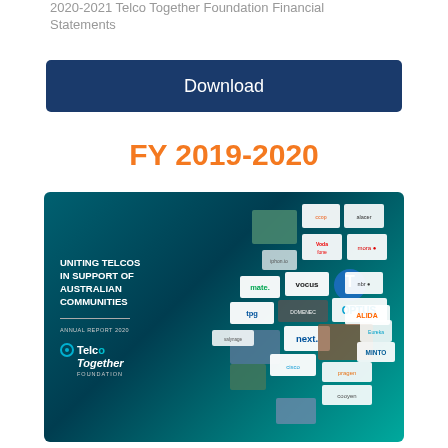2020-2021 Telco Together Foundation Financial Statements
Download
FY 2019-2020
[Figure (photo): Telco Together Foundation Annual Report 2020 cover image showing the text 'Uniting Telcos in Support of Australian Communities', the Telco Together Foundation logo, and a collage of telecom company logos including Optus, Vodafone, TPG, Vocus, Cisco, NBN, MATE, Next, Telstra, and others on a teal/dark teal gradient background.]